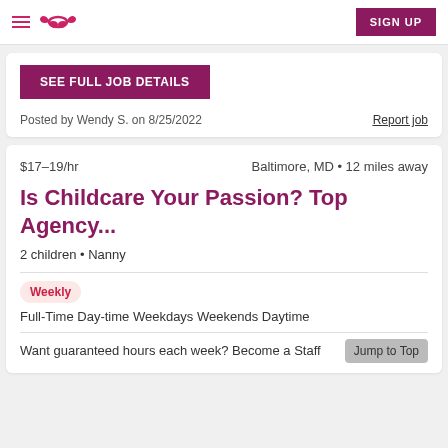Care.com navigation with hamburger menu, infinity logo, and SIGN UP button
SEE FULL JOB DETAILS
Posted by Wendy S. on 8/25/2022
Report job
$17–19/hr    Baltimore, MD • 12 miles away
Is Childcare Your Passion? Top Agency...
2 children • Nanny
Weekly
Full-Time Day-time Weekdays Weekends Daytime
Jump to Top
Want guaranteed hours each week? Become a Staff